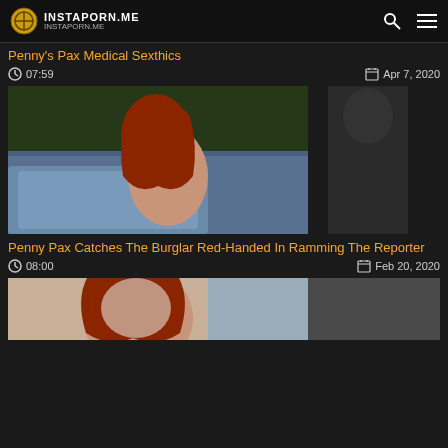INSTAPORN.ME
Penny's Pax Medical Sexthics
07:59   Apr 7, 2020
[Figure (photo): Thumbnail image for adult video]
Penny Pax Catches The Burglar Red-Handed In Ramming The Reporter
08:00   Feb 20, 2020
[Figure (photo): Thumbnail image for next adult video, partially visible]